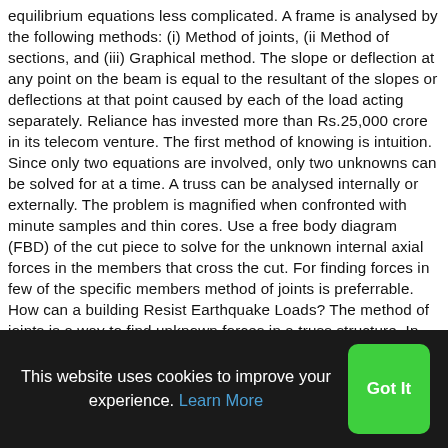equilibrium equations less complicated. A frame is analysed by the following methods: (i) Method of joints, (ii Method of sections, and (iii) Graphical method. The slope or deflection at any point on the beam is equal to the resultant of the slopes or deflections at that point caused by each of the load acting separately. Reliance has invested more than Rs.25,000 crore in its telecom venture. The first method of knowing is intuition. Since only two equations are involved, only two unknowns can be solved for at a time. A truss can be analysed internally or externally. The problem is magnified when confronted with minute samples and thin cores. Use a free body diagram (FBD) of the cut piece to solve for the unknown internal axial forces in the members that cross the cut. For finding forces in few of the specific members method of joints is preferrable. How can a building Resist Earthquake Loads? The method of joints is a way to find unknown forces in a truss structure. In the section students will learn about Truss structures, specifically method
This website uses cookies to improve your experience. Learn More